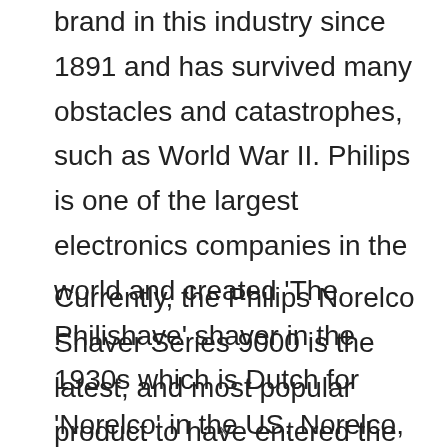brand in this industry since 1891 and has survived many obstacles and catastrophes, such as World War II. Philips is one of the largest electronics companies in the world and created ‘The Philishave’ shaver in the 1930s which is Dutch for ‘Norelco’ in the US. Norelco, as it stands, is a part of their product line now, and front running for the best shaver to have.
Currently, the Philips Norelco Shaver Series 9000 is the latest, and most popular product to have entered the market.
x